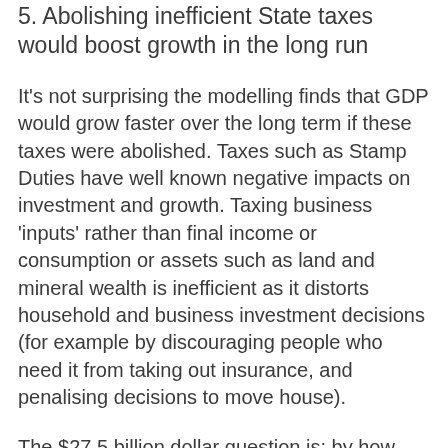5. Abolishing inefficient State taxes would boost growth in the long run
It's not surprising the modelling finds that GDP would grow faster over the long term if these taxes were abolished. Taxes such as Stamp Duties have well known negative impacts on investment and growth. Taxing business 'inputs' rather than final income or consumption or assets such as land and mineral wealth is inefficient as it distorts household and business investment decisions (for example by discouraging people who need it from taking out insurance, and penalising decisions to move house).
The $27.5 billion dollar question is: by how much? This is notoriously difficult to estimate. As with all macro-economic modelling, results